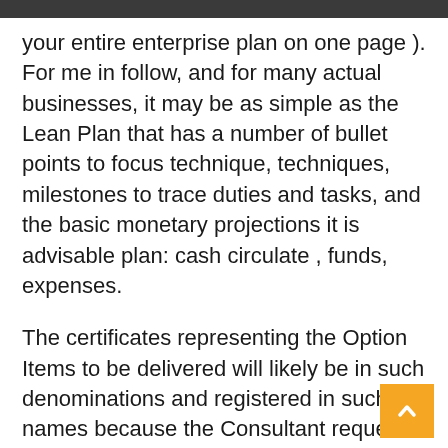your entire enterprise plan on one page ). For me in follow, and for many actual businesses, it may be as simple as the Lean Plan that has a number of bullet points to focus technique, techniques, milestones to trace duties and tasks, and the basic monetary projections it is advisable plan: cash circulate , funds, expenses.
The certificates representing the Option Items to be delivered will likely be in such denominations and registered in such names because the Consultant requests in writing not less than two full Business Days prior to the Closing Date or the Possibility Closing Date, because the case could also be, and might be made accessible to the Consultant for inspection, checking and packaging on the aforesaid workplace of the Company's